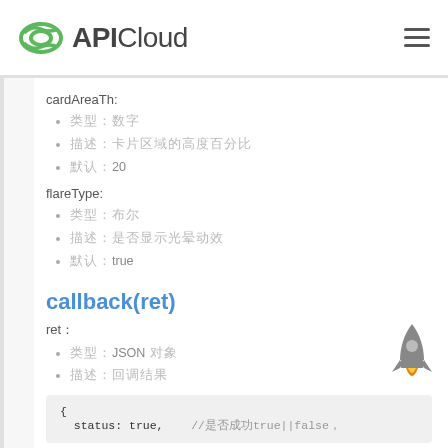APICloud
cardAreaTh:
类型：数字
描述：卡片区域的高度百分比
默认：20
flareType:
类型：布尔
描述：是否显示光晕动效
默认：true
callback(ret)
ret：
类型：JSON 对象
描述：回调结果
{
  status: true,    //是否成功true||false，